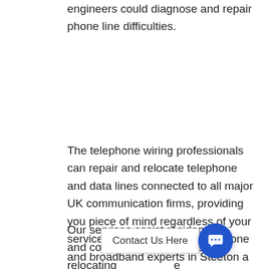engineers could diagnose and repair phone line difficulties.
The telephone wiring professionals can repair and relocate telephone and data lines connected to all major UK communication firms, providing you piece of mind regardless of your service provider. Give the telephone and broadband experts in Steeton a free call right away if you need an extra phone or data socket installed or relocated.
Our services assist residential and commercial customers in relocating … office at a fraction of the cost charged by
[Figure (other): Contact Us Here button with chat icon on blue circle, overlaid on bottom-right of page]